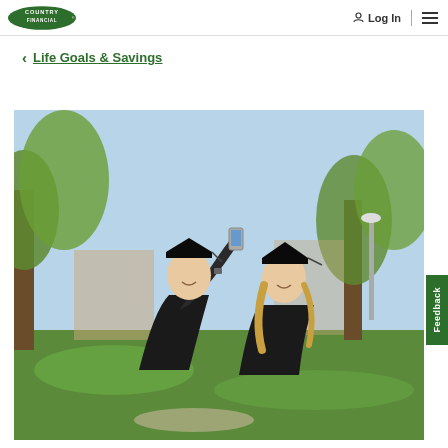Country Financial logo | Login | Menu
< Life Goals & Savings
[Figure (photo): Two graduates in black caps and gowns taking a selfie outdoors on a campus lawn with trees in the background. The male graduate holds a phone up while the female graduate smiles and leans in.]